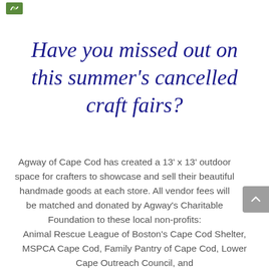[Figure (logo): Small green logo icon in top left corner]
Have you missed out on this summer's cancelled craft fairs?
Agway of Cape Cod has created a 13' x 13' outdoor space for crafters to showcase and sell their beautiful handmade goods at each store. All vendor fees will be matched and donated by Agway's Charitable Foundation to these local non-profits:
Animal Rescue League of Boston's Cape Cod Shelter, MSPCA Cape Cod, Family Pantry of Cape Cod, Lower Cape Outreach Council, and